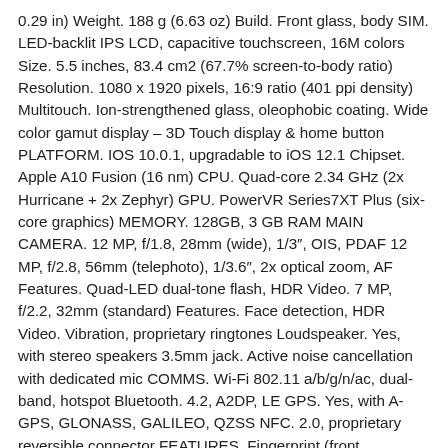0.29 in) Weight. 188 g (6.63 oz) Build. Front glass, body SIM. LED-backlit IPS LCD, capacitive touchscreen, 16M colors Size. 5.5 inches, 83.4 cm2 (67.7% screen-to-body ratio) Resolution. 1080 x 1920 pixels, 16:9 ratio (401 ppi density) Multitouch. Ion-strengthened glass, oleophobic coating. Wide color gamut display – 3D Touch display & home button PLATFORM. IOS 10.0.1, upgradable to iOS 12.1 Chipset. Apple A10 Fusion (16 nm) CPU. Quad-core 2.34 GHz (2x Hurricane + 2x Zephyr) GPU. PowerVR Series7XT Plus (six-core graphics) MEMORY. 128GB, 3 GB RAM MAIN CAMERA. 12 MP, f/1.8, 28mm (wide), 1/3″, OIS, PDAF 12 MP, f/2.8, 56mm (telephoto), 1/3.6″, 2x optical zoom, AF Features. Quad-LED dual-tone flash, HDR Video. 7 MP, f/2.2, 32mm (standard) Features. Face detection, HDR Video. Vibration, proprietary ringtones Loudspeaker. Yes, with stereo speakers 3.5mm jack. Active noise cancellation with dedicated mic COMMS. Wi-Fi 802.11 a/b/g/n/ac, dual-band, hotspot Bluetooth. 4.2, A2DP, LE GPS. Yes, with A-GPS, GLONASS, GALILEO, QZSS NFC. 2.0, proprietary reversible connector FEATURES. Fingerprint (front